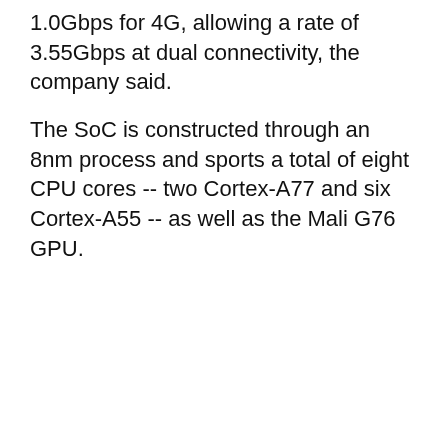1.0Gbps for 4G, allowing a rate of 3.55Gbps at dual connectivity, the company said.
The SoC is constructed through an 8nm process and sports a total of eight CPU cores -- two Cortex-A77 and six Cortex-A55 -- as well as the Mali G76 GPU.
The chip also has an integrated neural processing unit (NPU) for on-device artificial intelligence (AI)